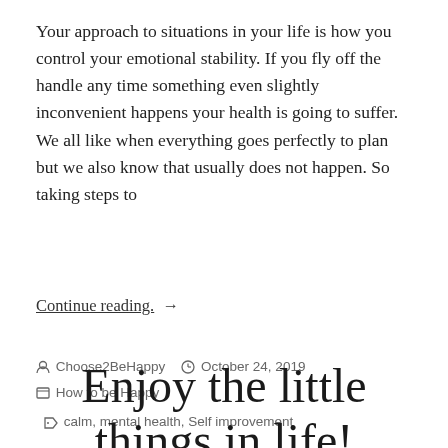Your approach to situations in your life is how you control your emotional stability. If you fly off the handle any time something even slightly inconvenient happens your health is going to suffer. We all like when everything goes perfectly to plan but we also know that usually does not happen. So taking steps to
Continue reading. →
Choose2BeHappy   October 24, 2019
How to be Happy   calm, mental health, Self improvement
Enjoy the little things in life!